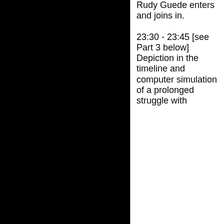[Figure (photo): Large black rectangle occupying the left portion of the page]
Rudy Guede enters and joins in.

23:30 - 23:45 [see Part 3 below] Depiction in the timeline and computer simulation of a prolonged struggle with